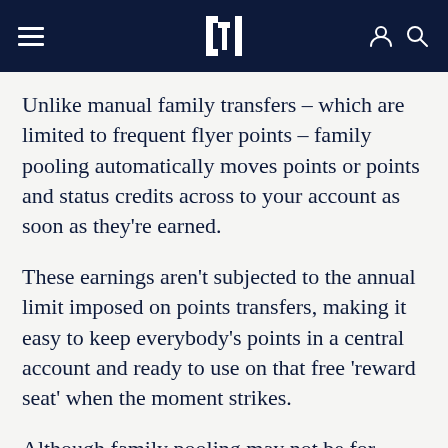Navigation bar with hamburger menu, logo, user and search icons
Unlike manual family transfers – which are limited to frequent flyer points – family pooling automatically moves points or points and status credits across to your account as soon as they're earned.
These earnings aren't subjected to the annual limit imposed on points transfers, making it easy to keep everybody's points in a central account and ready to use on that free 'reward seat' when the moment strikes.
Although family pooling may not be for